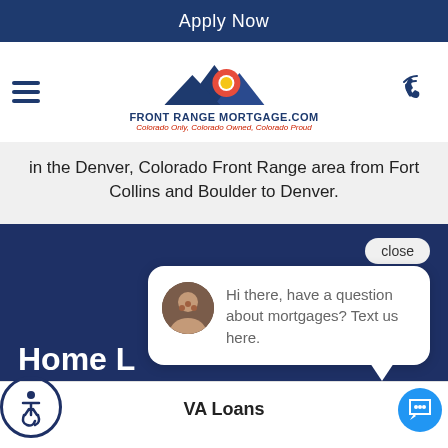Apply Now
[Figure (logo): Front Range Mortgage.com logo with Colorado mountain and flag imagery. Tagline: Colorado Only, Colorado Owned, Colorado Proud]
in the Denver, Colorado Front Range area from Fort Collins and Boulder to Denver.
close
[Figure (photo): Chat popup with avatar photo of group of people and message: Hi there, have a question about mortgages? Text us here.]
Home L
VA Loans